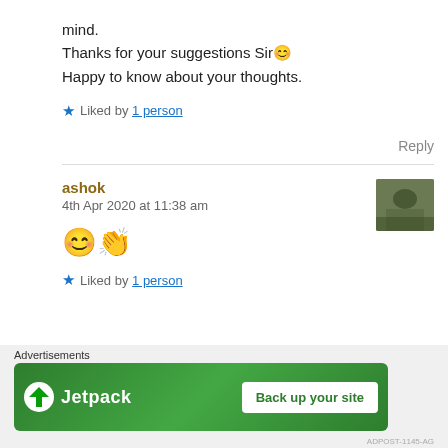mind.
Thanks for your suggestions Sir 😊
Happy to know about your thoughts.
★ Liked by 1 person
Reply
ashok
4th Apr 2020 at 11:38 am
😊 👏
★ Liked by 1 person
Advertisements
[Figure (logo): Jetpack advertisement banner with logo and 'Back up your site' button]